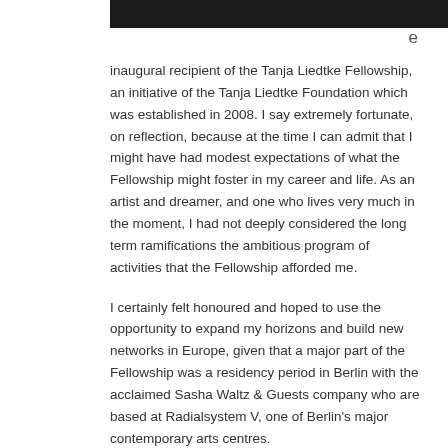[Figure (photo): Dark/black photograph strip at the top of the page showing people in a dark setting]
e
inaugural recipient of the Tanja Liedtke Fellowship, an initiative of the Tanja Liedtke Foundation which was established in 2008. I say extremely fortunate, on reflection, because at the time I can admit that I might have had modest expectations of what the Fellowship might foster in my career and life. As an artist and dreamer, and one who lives very much in the moment, I had not deeply considered the long term ramifications the ambitious program of activities that the Fellowship afforded me.
I certainly felt honoured and hoped to use the opportunity to expand my horizons and build new networks in Europe, given that a major part of the Fellowship was a residency period in Berlin with the acclaimed Sasha Waltz & Guests company who are based at Radialsystem V, one of Berlin's major contemporary arts centres.
I can humbly say that I was naive to the potential of the